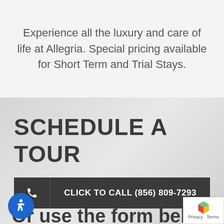Experience all the luxury and care of life at Allegria. Special pricing available for Short Term and Trial Stays.
SCHEDULE A TOUR
CLICK TO CALL (856) 809-7293
Or use the form below